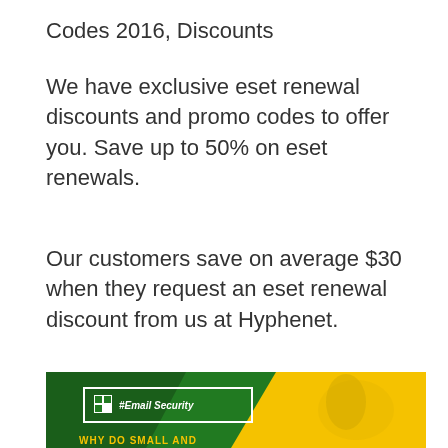Codes 2016, Discounts
We have exclusive eset renewal discounts and promo codes to offer you. Save up to 50% on eset renewals.
Our customers save on average $30 when they request an eset renewal discount from us at Hyphenet.
[Figure (illustration): Promotional banner with green and yellow background. A white-bordered badge on the green section shows a logo icon and the text '#Email Security' in italic. The yellow section shows a computer mouse being held. At the bottom of the green section: 'WHY DO SMALL AND' in yellow bold uppercase text.]